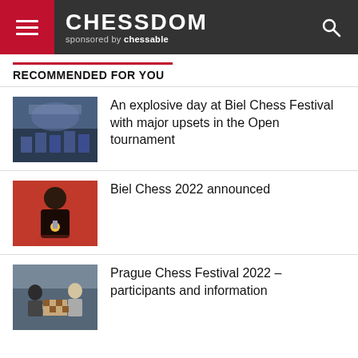CHESSDOM sponsored by chessable
RECOMMENDED FOR YOU
[Figure (photo): Chess tournament hall with players and audience]
An explosive day at Biel Chess Festival with major upsets in the Open tournament
[Figure (photo): Chess player holding a gold medal in front of a red poster]
Biel Chess 2022 announced
[Figure (photo): Two chess players at a table during a match]
Prague Chess Festival 2022 – participants and information